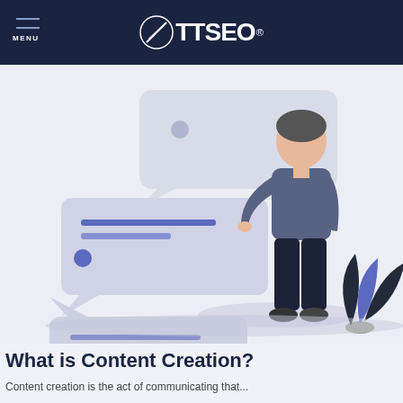MENU  ØTTSEO®
[Figure (illustration): Illustration of a person standing next to chat/message bubbles with blue accent lines and dots, with a decorative plant in the lower right. Light blue-gray background.]
What is Content Creation?
Content creation is the act of communicating that...